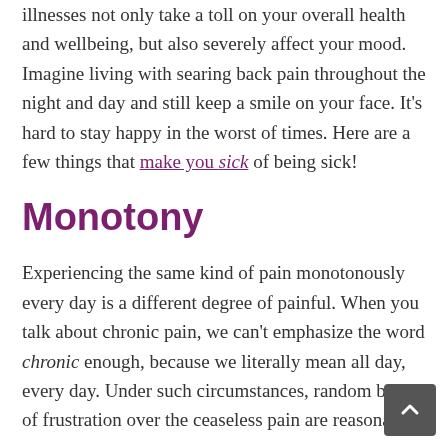illnesses not only take a toll on your overall health and wellbeing, but also severely affect your mood. Imagine living with searing back pain throughout the night and day and still keep a smile on your face. It's hard to stay happy in the worst of times. Here are a few things that make you sick of being sick!
Monotony
Experiencing the same kind of pain monotonously every day is a different degree of painful. When you talk about chronic pain, we can't emphasize the word chronic enough, because we literally mean all day, every day. Under such circumstances, random bouts of frustration over the ceaseless pain are reasonable.